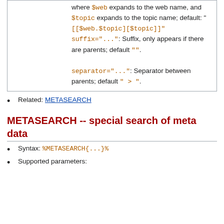where $web expands to the web name, and $topic expands to the topic name; default: "[[$web.$topic][$topic]]" suffix="...": Suffix, only appears if there are parents; default "". separator="...": Separator between parents; default " > ".
Related: METASEARCH
METASEARCH -- special search of meta data
Syntax: %METASEARCH{...}%
Supported parameters: